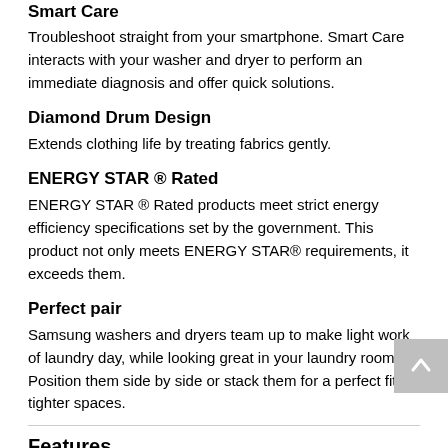Smart Care
Troubleshoot straight from your smartphone. Smart Care interacts with your washer and dryer to perform an immediate diagnosis and offer quick solutions.
Diamond Drum Design
Extends clothing life by treating fabrics gently.
ENERGY STAR ® Rated
ENERGY STAR ® Rated products meet strict energy efficiency specifications set by the government. This product not only meets ENERGY STAR® requirements, it exceeds them.
Perfect pair
Samsung washers and dryers team up to make light work of laundry day, while looking great in your laundry room. Position them side by side or stack them for a perfect fit in tighter spaces.
Features